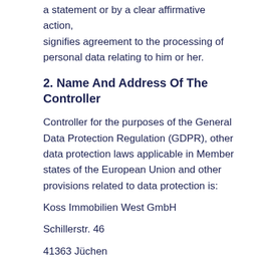a statement or by a clear affirmative action, signifies agreement to the processing of personal data relating to him or her.
2. Name And Address Of The Controller
Controller for the purposes of the General Data Protection Regulation (GDPR), other data protection laws applicable in Member states of the European Union and other provisions related to data protection is:
Koss Immobilien West GmbH
Schillerstr. 46
41363 Jüchen
Germany
Phone: 015114978670
Email: info@rainmakerpvt.com